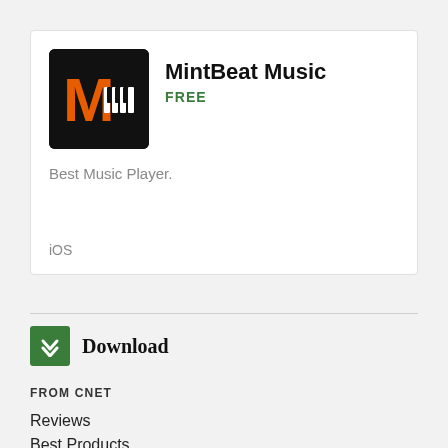[Figure (logo): MintBeat Music app icon — black background with orange M and white piano keys graphic]
MintBeat Music
FREE
Best Music Player.
iOS
[Figure (logo): Download icon — green square with white downward chevron/arrow]
Download
FROM CNET
Reviews
Best Products